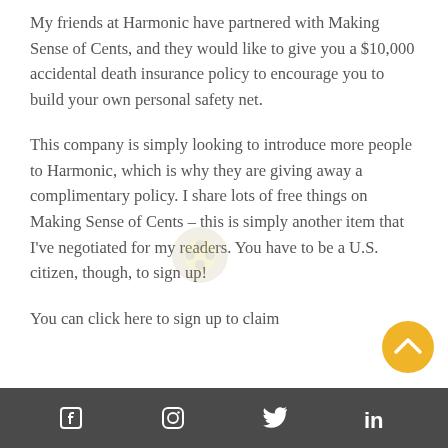My friends at Harmonic have partnered with Making Sense of Cents, and they would like to give you a $10,000 accidental death insurance policy to encourage you to build your own personal safety net.
This company is simply looking to introduce more people to Harmonic, which is why they are giving away a complimentary policy. I share lots of free things on Making Sense of Cents – this is simply another item that I've negotiated for my readers. You have to be a U.S. citizen, though, to sign up!
You can click here to sign up to claim
Facebook  Instagram  Twitter  LinkedIn